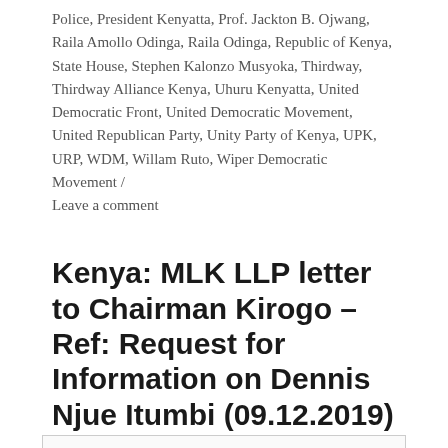Police, President Kenyatta, Prof. Jackton B. Ojwang, Raila Amollo Odinga, Raila Odinga, Republic of Kenya, State House, Stephen Kalonzo Musyoka, Thirdway, Thirdway Alliance Kenya, Uhuru Kenyatta, United Democratic Front, United Democratic Movement, United Republican Party, Unity Party of Kenya, UPK, URP, WDM, Willam Ruto, Wiper Democratic Movement / Leave a comment
Kenya: MLK LLP letter to Chairman Kirogo – Ref: Request for Information on Dennis Njue Itumbi (09.12.2019)